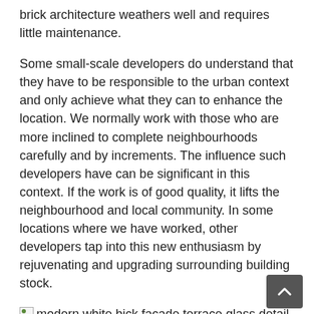brick architecture weathers well and requires little maintenance.
Some small-scale developers do understand that they have to be responsible to the urban context and only achieve what they can to enhance the location. We normally work with those who are more inclined to complete neighbourhoods carefully and by increments. The influence such developers have can be significant in this context. If the work is of good quality, it lifts the neighbourhood and local community. In some locations where we have worked, other developers tap into this new enthusiasm by rejuvenating and upgrading surrounding building stock.
[Figure (photo): modern white bick facade terrace glass detail view Mews House]
© Rory Gardiner
[Figure (photo): modern white bick facade terrace glass detail view Mews House]